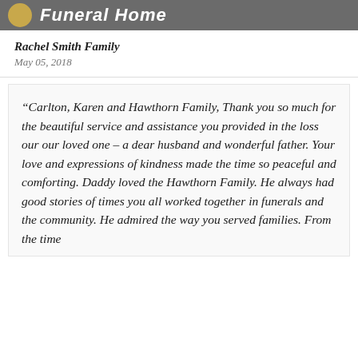Funeral Home
Rachel Smith Family
May 05, 2018
“Carlton, Karen and Hawthorn Family, Thank you so much for the beautiful service and assistance you provided in the loss our our loved one – a dear husband and wonderful father. Your love and expressions of kindness made the time so peaceful and comforting. Daddy loved the Hawthorn Family. He always had good stories of times you all worked together in funerals and the community. He admired the way you served families. From the time